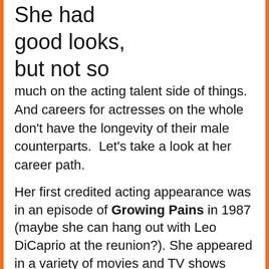She had good looks, but not so much on the acting talent side of things. And careers for actresses on the whole don't have the longevity of their male counterparts.  Let's take a look at her career path.
Her first credited acting appearance was in an episode of Growing Pains in 1987 (maybe she can hang out with Leo DiCaprio at the reunion?). She appeared in a variety of movies and TV shows along the way including the critically acclaimed Twins Peaks and in one of my favorite overlooked movies, Diggstown.
But she really hit it big as Rollergirl in the 1997 hit Boogie Nights. A string of major studio movies followed: Scream